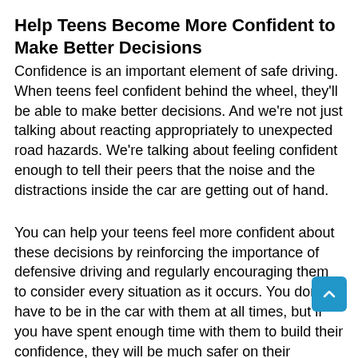Help Teens Become More Confident to Make Better Decisions
Confidence is an important element of safe driving. When teens feel confident behind the wheel, they'll be able to make better decisions. And we're not just talking about reacting appropriately to unexpected road hazards. We're talking about feeling confident enough to tell their peers that the noise and the distractions inside the car are getting out of hand.
You can help your teens feel more confident about these decisions by reinforcing the importance of defensive driving and regularly encouraging them to consider every situation as it occurs. You don't have to be in the car with them at all times, but if you have spent enough time with them to build their confidence, they will be much safer on their